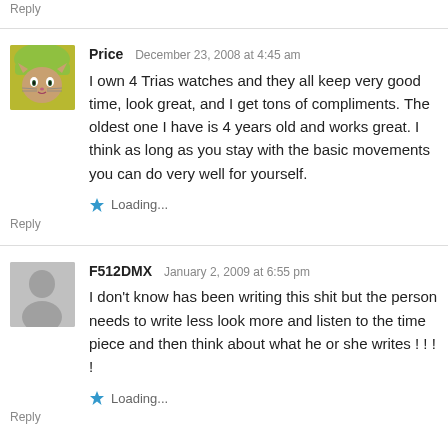Reply
Price  December 23, 2008 at 4:45 am
I own 4 Trias watches and they all keep very good time, look great, and I get tons of compliments. The oldest one I have is 4 years old and works great. I think as long as you stay with the basic movements you can do very well for yourself.
Loading...
Reply
F512DMX  January 2, 2009 at 6:55 pm
I don't know has been writing this shit but the person needs to write less look more and listen to the time piece and then think about what he or she writes ! ! ! !
Loading...
Reply